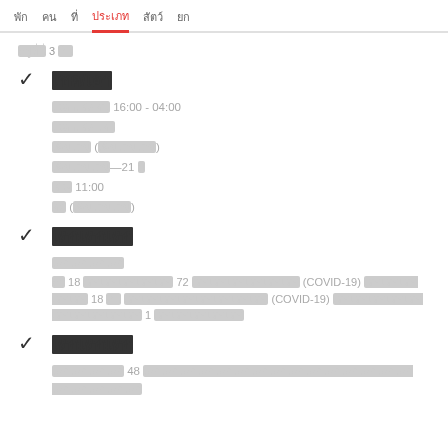พัก  คน  ที่  ประเภท  สัตว์  ยก
อยู่ที่นี่ 3 คืน
เช็ค/เอา
เวลาเช็คอิน 16:00 - 04:00
เวลาเช็ค/เอา
เพิ่มเติม (เพิ่มเติมเติม)
เพิ่มเติมเติม—21 บ
ช่วง 11:00
อยู่ (เพิ่มเติมเติม)
เด็กเด็กเด็ก
เด็กเด็กเด็กเด็ก
อา 18 เด็กเด็กเด็กเด็กเด็ก 72 เด็กเด็กเด็กเด็กเด็กเด็ก (COVID-19) เด็กเด็กเด็กเด็กเด็ก 18 คืน เด็กเด็กเด็กเด็กเด็กเด็กเด็กเด็ก (COVID-19) เด็กเด็กเด็กเด็กเด็กเด็กเด็กเด็กเด็กเด็ก 1 เด็กเด็กเด็กเด็กเด็ก
เด็กเด็กเด็ก
เด็กเด็กเด็กเด็ก 48 เด็กเด็กเด็กเด็กเด็กเด็กเด็กเด็กเด็กเด็กเด็กเด็กเด็กเด็กเด็กเด็กเด็กเด็กเด็กเด็ก